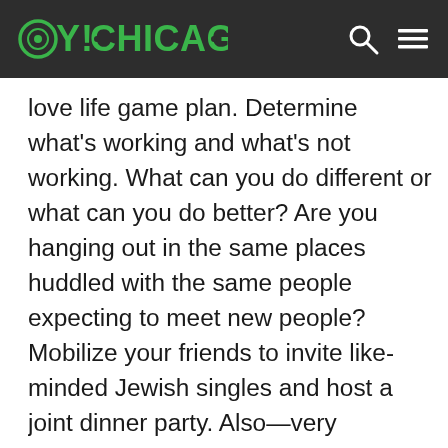OY!CHICAGO
love life game plan. Determine what's working and what's not working. What can you do different or what can you do better? Are you hanging out in the same places huddled with the same people expecting to meet new people? Mobilize your friends to invite like-minded Jewish singles and host a joint dinner party. Also—very important—if you have high standards in your future mate, be your best in return. That means emotionally and physically be the best version of you. If you are still mending your heart over your ex or you haven't taken care of your body in a while—take the time to first be happy with yourself and then put yourself online and not before… Keep the faith. Your one and only is out